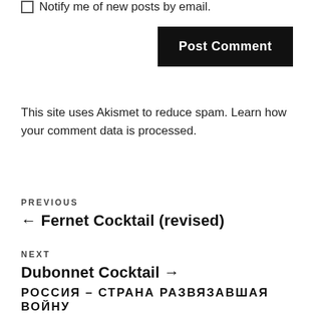Notify me of new posts by email.
Post Comment
This site uses Akismet to reduce spam. Learn how your comment data is processed.
PREVIOUS
← Fernet Cocktail (revised)
NEXT
Dubonnet Cocktail →
РОССИЯ – СТРАНА РАЗВЯЗАВШАЯ ВОЙНУ